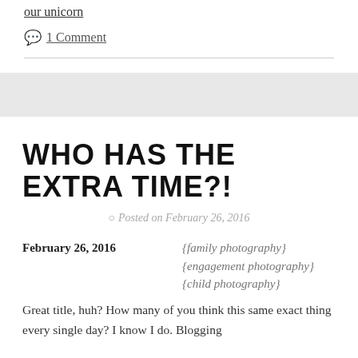our unicorn
1 Comment
WHO HAS THE EXTRA TIME?!
Posted on February 26, 2016
February 26, 2016   {family photography} {engagement photography} {child photography}
Great title, huh? How many of you think this same exact thing every single day? I know I do. Blogging